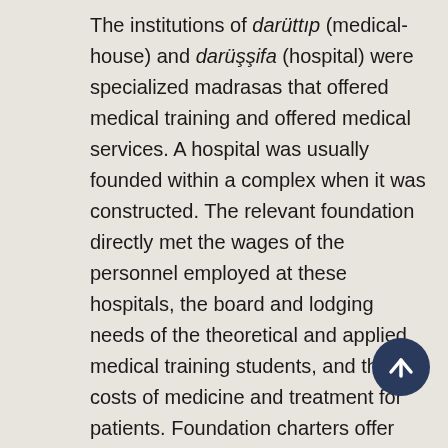The institutions of darüttıp (medical-house) and darüşşifa (hospital) were specialized madrasas that offered medical training and offered medical services. A hospital was usually founded within a complex when it was constructed. The relevant foundation directly met the wages of the personnel employed at these hospitals, the board and lodging needs of the theoretical and applied medical training students, and the costs of medicine and treatment for patients. Foundation charters offer detailed information about the personnel employed by the medical institutions affiliated to the foundation and the services offered the patients.30